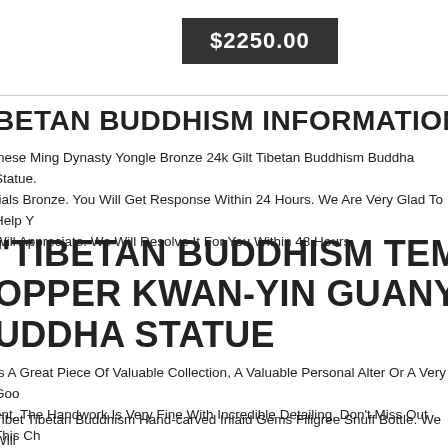$2250.00
BETAN BUDDHISM INFORMATION
inese Ming Dynasty Yongle Bronze 24k Gilt Tibetan Buddhism Buddha Statue. rials Bronze. You Will Get Response Within 24 Hours. We Are Very Glad To Help Y Will Appreciate. We Will Resolve It For You Within 48 Hours.
"TIBETAN BUDDHISM TEMPLE PURP OPPER KWAN-YIN GUANYIN GODDESS UDDHA STATUE
Is A Great Piece Of Valuable Collection, A Valuable Personal Alter Or A Very Goo ent. The Handwork Is Very Fine With Incredible Detailing. Don't Miss Out This Ch et It. Wish You Good Luck!
Tibet Tibetan Buddhism Hand-carved Inlaid Gems Filigree Snuff Bottle. We Will lve It For You Within 48 Hours. You Will Get Response Within 24 Hours. We Are V